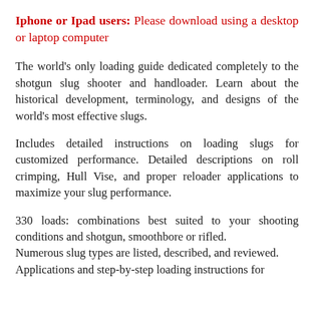Iphone or Ipad users: Please download using a desktop or laptop computer
The world's only loading guide dedicated completely to the shotgun slug shooter and handloader. Learn about the historical development, terminology, and designs of the world's most effective slugs.
Includes detailed instructions on loading slugs for customized performance. Detailed descriptions on roll crimping, Hull Vise, and proper reloader applications to maximize your slug performance.
330 loads: combinations best suited to your shooting conditions and shotgun, smoothbore or rifled. Numerous slug types are listed, described, and reviewed. Applications and step-by-step loading instructions for